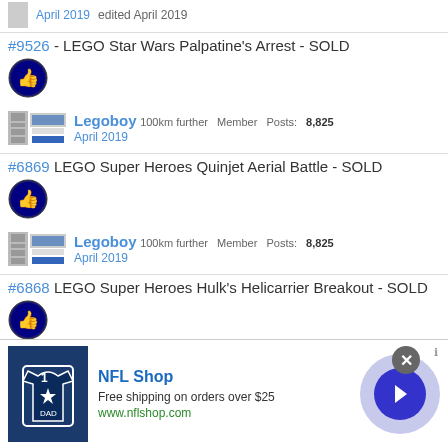April 2019  edited April 2019
#9526 - LEGO Star Wars Palpatine's Arrest - SOLD
[Figure (other): Like/thumbs-up button icon (blue circle with hand cursor)]
Legoboy  100km further  Member  Posts: 8,825
April 2019
#6869 LEGO Super Heroes Quinjet Aerial Battle - SOLD
[Figure (other): Like/thumbs-up button icon (blue circle with hand cursor)]
Legoboy  100km further  Member  Posts: 8,825
April 2019
#6868 LEGO Super Heroes Hulk's Helicarrier Breakout - SOLD
[Figure (other): Like/thumbs-up button icon (blue circle with hand cursor)]
Legoboy  100km further  Member  Posts: 8,825
[Figure (other): NFL Shop advertisement banner. NFL Shop, Free shipping on orders over $25, www.nflshop.com]